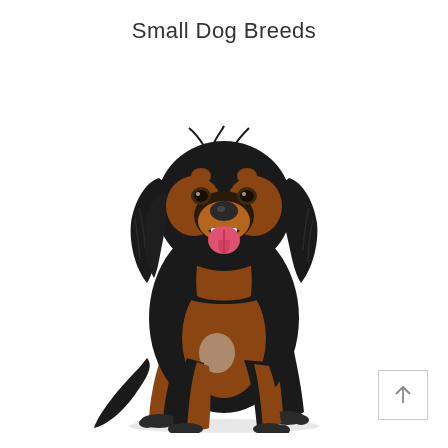Small Dog Breeds
[Figure (photo): A black and tan dog, resembling a small hound or spaniel mix, sitting upright on a white background with its tongue out and a happy expression.]
[Figure (other): A small square button with an upward-pointing arrow icon, positioned in the bottom-right corner.]